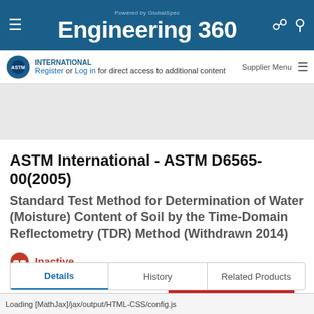Engineering 360 — Powered by GlobalSpec
Register or Log in for direct access to additional content
ASTM International - ASTM D6565-00(2005)
Standard Test Method for Determination of Water (Moisture) Content of Soil by the Time-Domain Reflectometry (TDR) Method (Withdrawn 2014)
Inactive
BUY NOW
Details | History | Related Products
Loading [MathJax]/jax/output/HTML-CSS/config.js